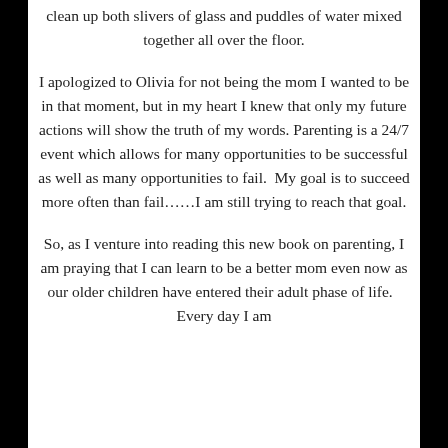clean up both slivers of glass and puddles of water mixed together all over the floor.
I apologized to Olivia for not being the mom I wanted to be in that moment, but in my heart I knew that only my future actions will show the truth of my words. Parenting is a 24/7 event which allows for many opportunities to be successful as well as many opportunities to fail.  My goal is to succeed more often than fail……I am still trying to reach that goal.
So, as I venture into reading this new book on parenting, I am praying that I can learn to be a better mom even now as our older children have entered their adult phase of life.   Every day I am